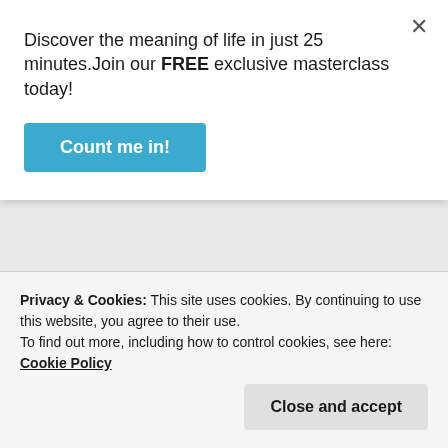Discover the meaning of life in just 25 minutes.Join our FREE exclusive masterclass today!
Count me in!
relationship. If you look into the Hebrew word of the “God is one” expression in Deuteronomy, it doesn’t mean numerical one, but rather one in unity.
Sorry, but as hard you may try, the Scripture doesn’t teach three Gods into One being. It is just a foolish attempt of man to explain
Privacy & Cookies: This site uses cookies. By continuing to use this website, you agree to their use.
To find out more, including how to control cookies, see here: Cookie Policy
Close and accept
Like